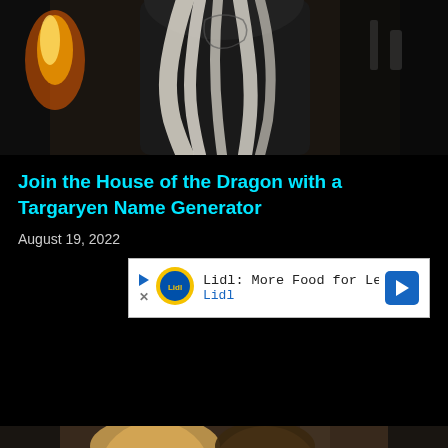[Figure (photo): Top partial photo showing a dark-clothed figure with long white/silver flowing hair against a dark background with a flame visible on the left side. Appears to be a Game of Thrones / House of the Dragon character.]
Join the House of the Dragon with a Targaryen Name Generator
August 19, 2022
[Figure (other): Advertisement banner for Lidl: 'Lidl: More Food for Less Money' with Lidl logo (circular blue and yellow) and a blue directional arrow icon on the right. Small play button and X close button on the left.]
[Figure (photo): Bottom partial photo showing two people (a blonde woman and a man) smiling, with what appears to be an industrial or wooden beam background. A circular X/close button appears in the bottom right corner.]